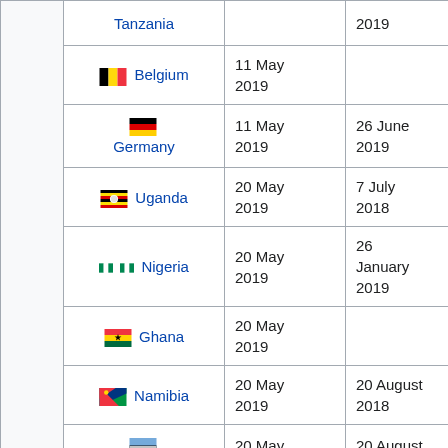| Country | Date (col2) | Date (col3) |
| --- | --- | --- |
| Tanzania |  | 2019 |
| Belgium | 11 May 2019 |  |
| Germany | 11 May 2019 | 26 June 2019 |
| Uganda | 20 May 2019 | 7 July 2018 |
| Nigeria | 20 May 2019 | 26 January 2019 |
| Ghana | 20 May 2019 |  |
| Namibia | 20 May 2019 | 20 August 2018 |
| Botswana | 20 May 2019 | 20 August 2018 |
| Italy | 25 May 2019 |  |